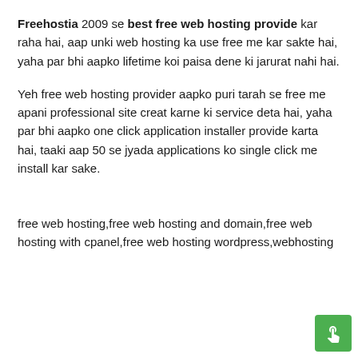Freehostia 2009 se best free web hosting provide kar raha hai, aap unki web hosting ka use free me kar sakte hai, yaha par bhi aapko lifetime koi paisa dene ki jarurat nahi hai.
Yeh free web hosting provider aapko puri tarah se free me apani professional site creat karne ki service deta hai, yaha par bhi aapko one click application installer provide karta hai, taaki aap 50 se jyada applications ko single click me install kar sake.
free web hosting,free web hosting and domain,free web hosting with cpanel,free web hosting wordpress,webhosting
[Figure (other): Green floating action button with a hand/pointer cursor icon in the bottom right corner]